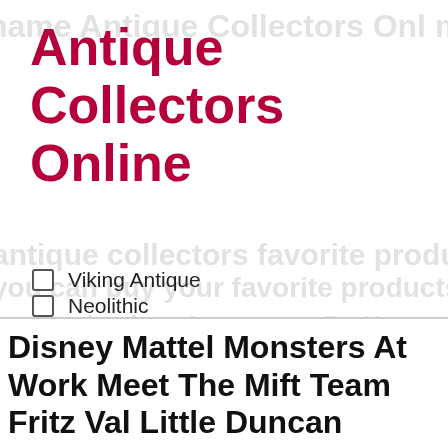Antique Collectors Online
Viking Antique
Neolithic
Egyptian Antique
Paleolithic
Islamic Antique
Medieval Antique
Disney Mattel Monsters At Work Meet The Mift Team Fritz Val Little Duncan